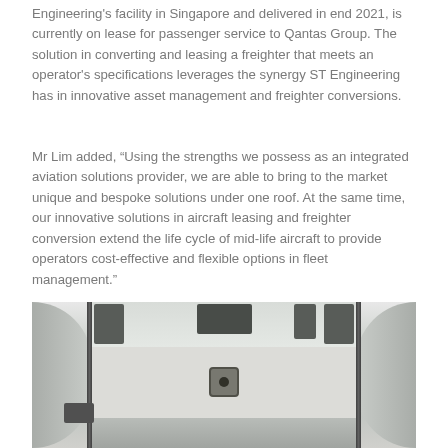Engineering's facility in Singapore and delivered in end 2021, is currently on lease for passenger service to Qantas Group. The solution in converting and leasing a freighter that meets an operator's specifications leverages the synergy ST Engineering has in innovative asset management and freighter conversions.
Mr Lim added, “Using the strengths we possess as an integrated aviation solutions provider, we are able to bring to the market unique and bespoke solutions under one roof. At the same time, our innovative solutions in aircraft leasing and freighter conversion extend the life cycle of mid-life aircraft to provide operators cost-effective and flexible options in fleet management.”
[Figure (photo): Interior of an aircraft freighter conversion showing the ceiling structure with cables, brackets, and wiring harnesses visible. White wall panels with rivet holes and a central mounted device are visible. The curved fuselage walls are shown on both sides.]